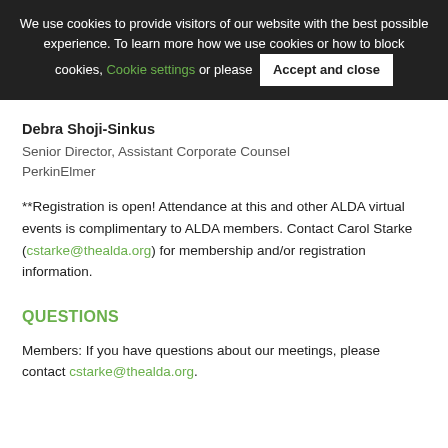We use cookies to provide visitors of our website with the best possible experience. To learn more how we use cookies or how to block cookies, Cookie settings or please Accept and close
Debra Shoji-Sinkus
Senior Director, Assistant Corporate Counsel
PerkinElmer
**Registration is open! Attendance at this and other ALDA virtual events is complimentary to ALDA members. Contact Carol Starke (cstarke@thealda.org) for membership and/or registration information.
QUESTIONS
Members: If you have questions about our meetings, please contact cstarke@thealda.org.